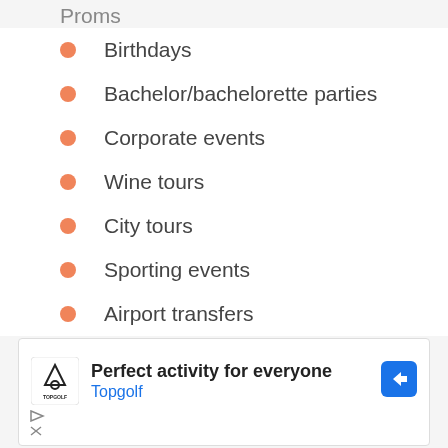Proms
Birthdays
Bachelor/bachelorette parties
Corporate events
Wine tours
City tours
Sporting events
Airport transfers
[Figure (other): Advertisement banner for Topgolf: logo, text 'Perfect activity for everyone', 'Topgolf', arrow icon, and ad control buttons]